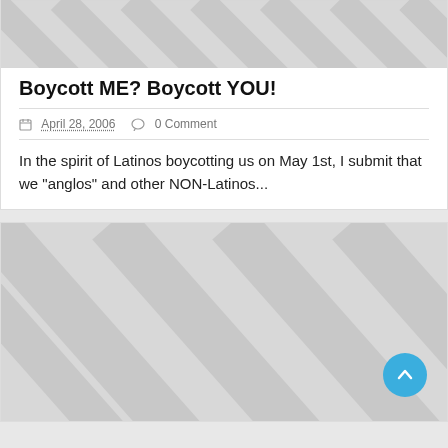[Figure (illustration): Placeholder image with diagonal stripe pattern in light gray]
Boycott ME? Boycott YOU!
April 28, 2006   0 Comment
In the spirit of Latinos boycotting us on May 1st, I submit that we "anglos" and other NON-Latinos...
[Figure (illustration): Placeholder image with diagonal stripe pattern in light gray, with a blue circular back-to-top button in the bottom right corner]